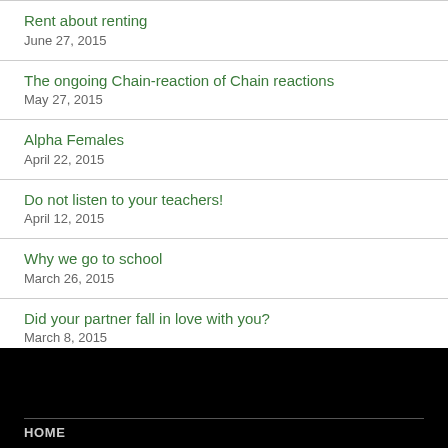Rent about renting
June 27, 2015
The ongoing Chain-reaction of Chain reactions
May 27, 2015
Alpha Females
April 22, 2015
Do not listen to your teachers!
April 12, 2015
Why we go to school
March 26, 2015
Did your partner fall in love with you?
March 8, 2015
HOME